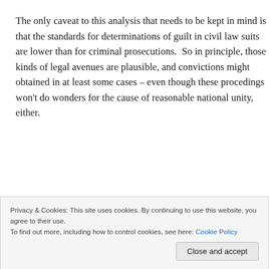The only caveat to this analysis that needs to be kept in mind is that the standards for determinations of guilt in civil law suits are lower than for criminal prosecutions.  So in principle, those kinds of legal avenues are plausible, and convictions might obtained in at least some cases – even though these procedings won't do wonders for the cause of reasonable national unity, either.
Privacy & Cookies: This site uses cookies. By continuing to use this website, you agree to their use.
To find out more, including how to control cookies, see here: Cookie Policy
Close and accept
majority of Americans will be scarce at best